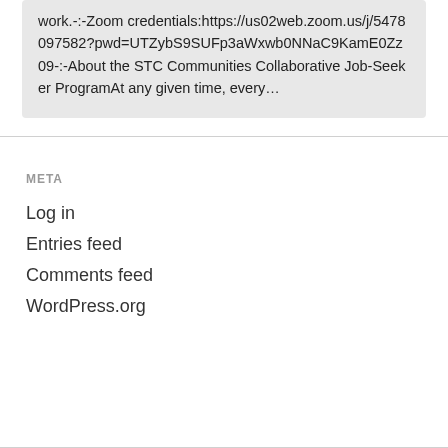work.-:-Zoom credentials:https://us02web.zoom.us/j/5478097582?pwd=UTZybS9SUFp3aWxwb0NNaC9KamE0Zz09-:-About the STC Communities Collaborative Job-Seeker ProgramAt any given time, every…
META
Log in
Entries feed
Comments feed
WordPress.org